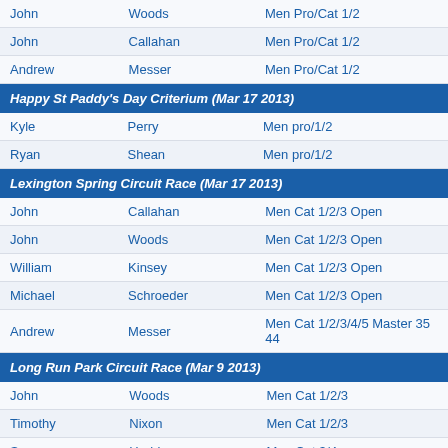| First | Last | Category |
| --- | --- | --- |
| John | Woods | Men Pro/Cat 1/2 |
| John | Callahan | Men Pro/Cat 1/2 |
| Andrew | Messer | Men Pro/Cat 1/2 |
Happy St Paddy's Day Criterium (Mar 17 2013)
| First | Last | Category |
| --- | --- | --- |
| Kyle | Perry | Men pro/1/2 |
| Ryan | Shean | Men pro/1/2 |
Lexington Spring Circuit Race (Mar 17 2013)
| First | Last | Category |
| --- | --- | --- |
| John | Callahan | Men Cat 1/2/3 Open |
| John | Woods | Men Cat 1/2/3 Open |
| William | Kinsey | Men Cat 1/2/3 Open |
| Michael | Schroeder | Men Cat 1/2/3 Open |
| Andrew | Messer | Men Cat 1/2/3/4/5 Master 35 44 |
Long Run Park Circuit Race (Mar 9 2013)
| First | Last | Category |
| --- | --- | --- |
| John | Woods | Men Cat 1/2/3 |
| Timothy | Nixon | Men Cat 1/2/3 |
| Sam | Harbison | Men Cat 3/4 |